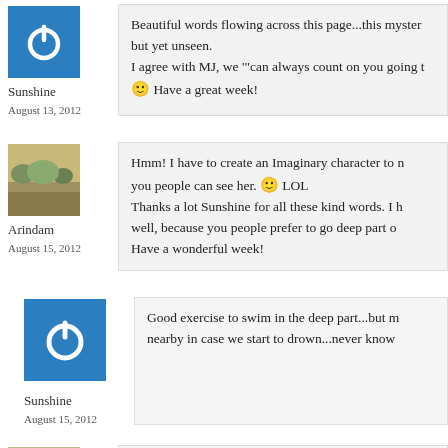Sunshine
August 13, 2012
Beautiful words flowing across this page...this myster but yet unseen.
I agree with MJ, we "can always count on you going t
😊 Have a great week!
Arindam
August 15, 2012
Hmm! I have to create an Imaginary character to m you people can see her. 😊 LOL
Thanks a lot Sunshine for all these kind words. I h well, because you people prefer to go deep part o Have a wonderful week!
Sunshine
August 15, 2012
Good exercise to swim in the deep part...but m nearby in case we start to drown...never know
Ha Ha 😊 LOL.